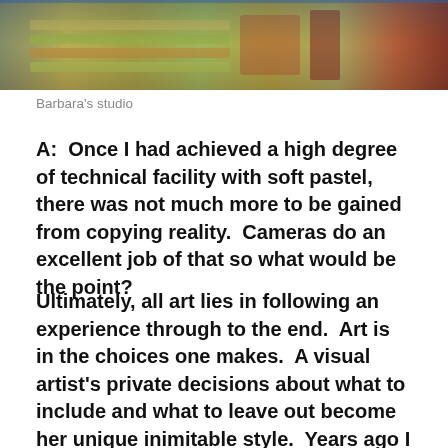[Figure (photo): Barbara's studio — overhead view of an artist's workspace with colorful trays of soft pastels arranged on tables]
Barbara's studio
A:  Once I had achieved a high degree of technical facility with soft pastel, there was not much more to be gained from copying reality.  Cameras do an excellent job of that so what would be the point?
Ultimately, all art lies in following an experience through to the end.  Art is in the choices one makes.  A visual artist's private decisions about what to include and what to leave out become her unique inimitable style.  Years ago I made a conscious decision to abandon photorealism.  Since then I have been on a journey to work more from imagination and direct experience and less from physical reality.